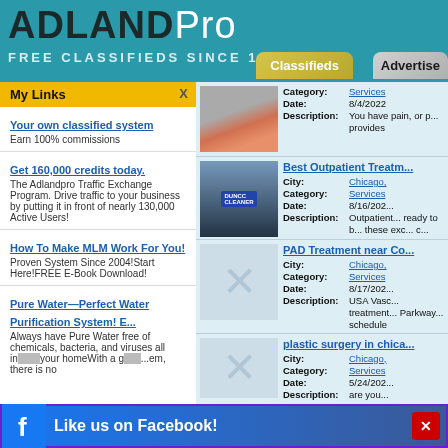ADLANDPro FREE CLASSIFIEDS SINCE 1998
My Links
Your own classified system – Earn 100% commissions
Get 160,000 credits today. – The Adlandpro Traffic Exchange Program. Drive traffic to your business by putting it in front of nearly 130,000 Active Users!
How To Make MLM Work For You! – Proven System Since 2004!Start Here!FREE E-Book Download!
Pure Water—Perfect Water Purification System! E... – Always have Pure Water free of chemicals, bacteria, and viruses all in... your homeWith a g... ...em, there is no
Category: Services
Date: 8/4/2022
Description: You have pain, or p... provides
Best Outpatient Treatm...
City: Chicago,
Category: Services
Date: 8/16/202...
Description: Outpatient... ready to b... these exc... c...
PAD Treatment near Co...
City: Chicago,
Category: Services
Date: 8/17/202...
Description: USA Vasc... treatment... Parkway... schedule
plastic surgery in chica...
City: Chicago,
Category: Services
Date: 5/24/202...
Description: are you...
Like us on Facebook!